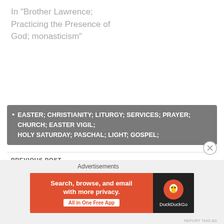In "Brother Lawrence; Practicing the Presence of God; monasticism"
EASTER; CHRISTIANITY; LITURGY; SERVICES; PRAYER; CHURCH; EASTER VIGIL; HOLY SATURDAY; PASCHAL; LIGHT; GOSPEL;
PREVIOUS POST
Two Men and a House They Built
NEXT POST
Walking the Camino
[Figure (screenshot): DuckDuckGo advertisement banner: orange background with text 'Search, browse, and email with more privacy. All in One Free App' and DuckDuckGo logo on dark right panel]
Advertisements